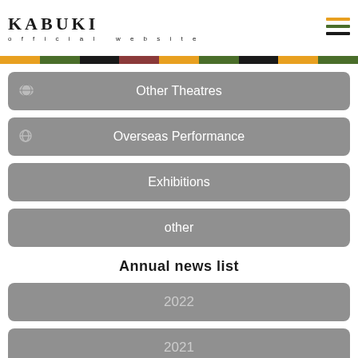KABUKI official website
Other Theatres
Overseas Performance
Exhibitions
other
Annual news list
2022
2021
2020
2019
2018